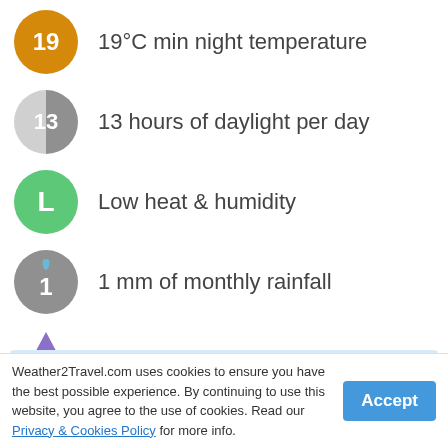19°C min night temperature
13 hours of daylight per day
Low heat & humidity
1 mm of monthly rainfall
11 (Extreme) UV index
23°C sea temperature
TUI: up to £250 off August & September
Weather2Travel.com uses cookies to ensure you have the best possible experience. By continuing to use this website, you agree to the use of cookies. Read our Privacy & Cookies Policy for more info.